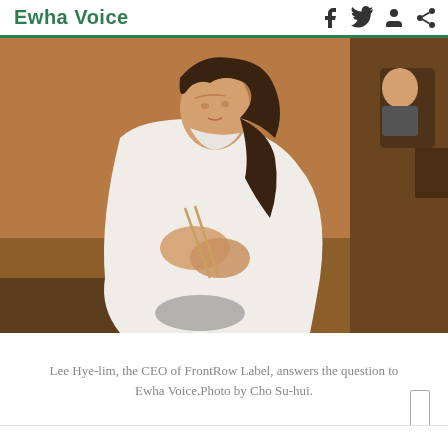Ewha Voice
[Figure (photo): Lee Hye-lim, the CEO of FrontRow Label, sitting at a table in a restaurant, wearing a white outfit, holding chopsticks, viewed from the side profile, with wooden wall paneling in the background and other patrons visible.]
Lee Hye-lim, the CEO of FrontRow Label, answers the question to Ewha Voice.Photo by Cho Su-hui.